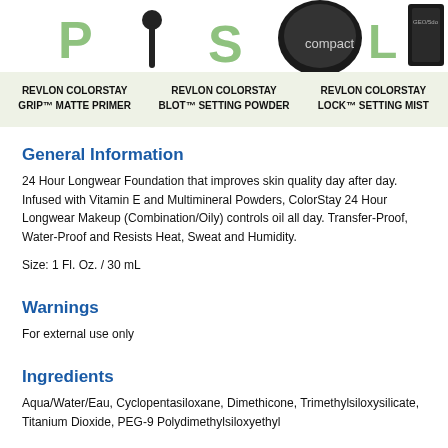[Figure (other): Top strip showing partial product images and icons for three Revlon ColorStay products]
REVLON COLORSTAY GRIP™ MATTE PRIMER
REVLON COLORSTAY BLOT™ SETTING POWDER
REVLON COLORSTAY LOCK™ SETTING MIST
General Information
24 Hour Longwear Foundation that improves skin quality day after day. Infused with Vitamin E and Multimineral Powders, ColorStay 24 Hour Longwear Makeup (Combination/Oily) controls oil all day. Transfer-Proof, Water-Proof and Resists Heat, Sweat and Humidity.
Size: 1 Fl. Oz. / 30 mL
Warnings
For external use only
Ingredients
Aqua/Water/Eau, Cyclopentasiloxane, Dimethicone, Trimethylsiloxysilicate, Titanium Dioxide, PEG-9 Polydimethylsiloxyethyl